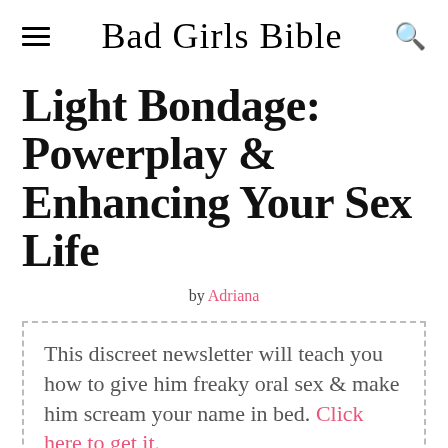Bad Girls Bible
Light Bondage: Powerplay & Enhancing Your Sex Life
by Adriana
This discreet newsletter will teach you how to give him freaky oral sex & make him scream your name in bed. Click here to get it.